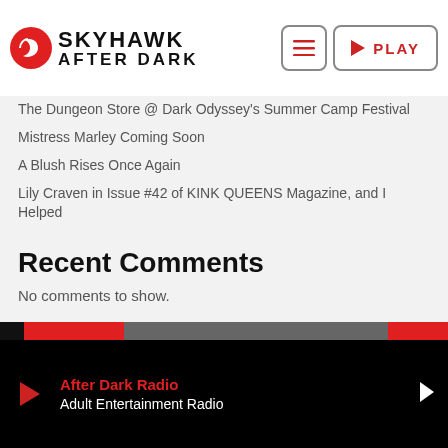[Figure (logo): Skyhawk After Dark logo with red hawk icon and black text, plus hamburger menu button and red PLAY button]
The Dungeon Store @ Dark Odyssey's Summer Camp Festival
Mistress Marley Coming Soon
A Blush Rises Once Again
Lily Craven in Issue #42 of KINK QUEENS Magazine, and I Helped
Recent Comments
No comments to show.
After Dark Radio — Adult Entertainment Radio